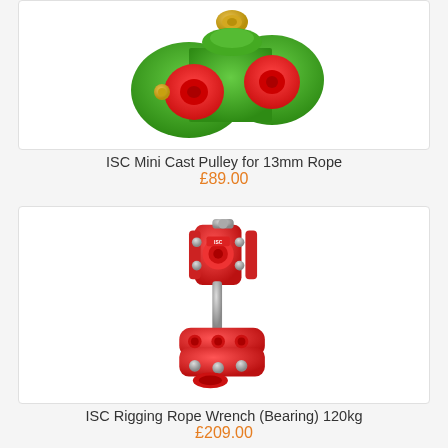[Figure (photo): Green ISC Mini Cast Pulley for 13mm rope — top portion visible, green aluminum body with red sheave and gold hardware]
ISC Mini Cast Pulley for 13mm Rope
£89.00
[Figure (photo): Red ISC Rigging Rope Wrench with bearing, showing the main body and lower arm/plate in red aluminum with silver hardware]
ISC Rigging Rope Wrench (Bearing) 120kg
£209.00